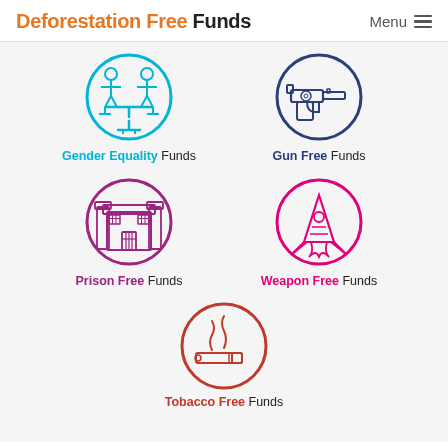Deforestation Free Funds   Menu
[Figure (illustration): Circular icon with two figures on a balance scale, in cyan/teal color, representing Gender Equality]
Gender Equality Funds
[Figure (illustration): Circular icon with a handgun/revolver, in dark navy blue color, representing Gun Free Funds]
Gun Free Funds
[Figure (illustration): Circular icon with a prison building, in purple/magenta color, representing Prison Free Funds]
Prison Free Funds
[Figure (illustration): Circular icon with a missile/rocket, in hot pink/magenta color, representing Weapon Free Funds]
Weapon Free Funds
[Figure (illustration): Circular icon with a cigarette and smoke, in red-orange color, representing Tobacco Free Funds]
Tobacco Free Funds